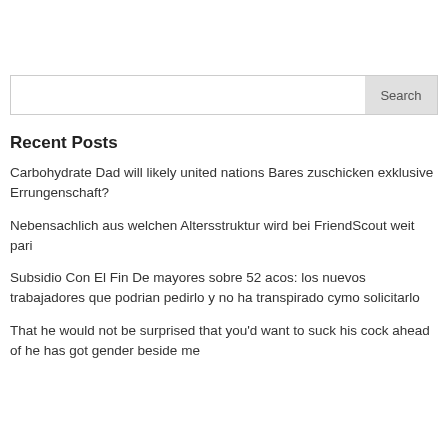Recent Posts
Carbohydrate Dad will likely united nations Bares zuschicken exklusive Errungenschaft?
Nebensachlich aus welchen Altersstruktur wird bei FriendScout weit pari
Subsidio Con El Fin De mayores sobre 52 acos: los nuevos trabajadores que podrian pedirlo y no ha transpirado cymo solicitarlo
That he would not be surprised that you'd want to suck his cock ahead of he has got gender beside me